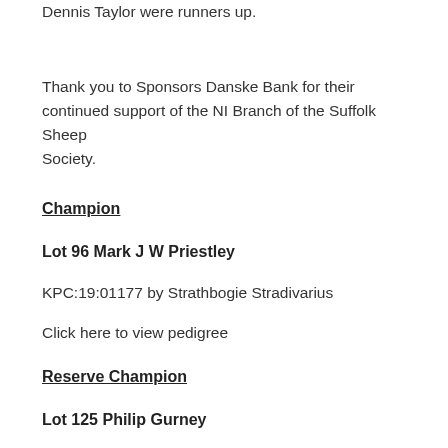Dennis Taylor were runners up.
Thank you to Sponsors Danske Bank for their continued support of the NI Branch of the Suffolk Sheep Society.
Champion
Lot 96 Mark J W Priestley
KPC:19:01177 by Strathbogie Stradivarius
Click here to view pedigree
Reserve Champion
Lot 125 Philip Gurney